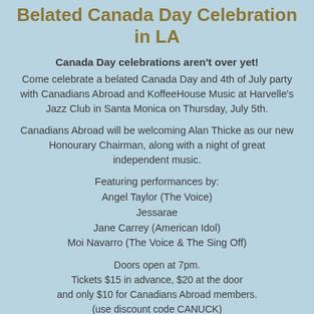Belated Canada Day Celebration in LA
Canada Day celebrations aren't over yet!
Come celebrate a belated Canada Day and 4th of July party with Canadians Abroad and KoffeeHouse Music at Harvelle's Jazz Club in Santa Monica on Thursday, July 5th.
Canadians Abroad will be welcoming Alan Thicke as our new Honourary Chairman, along with a night of great independent music.
Featuring performances by:
Angel Taylor (The Voice)
Jessarae
Jane Carrey (American Idol)
Moi Navarro (The Voice & The Sing Off)
Doors open at 7pm.
Tickets $15 in advance, $20 at the door and only $10 for Canadians Abroad members.
(use discount code CANUCK)